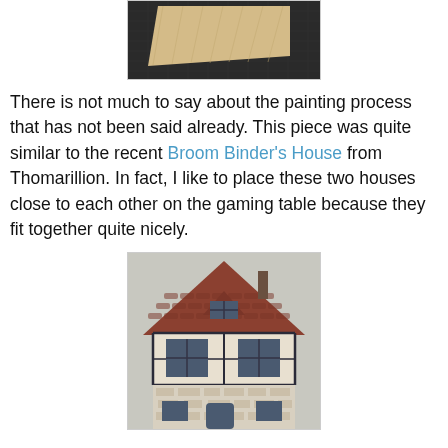[Figure (photo): A piece of light-colored balsa or basswood sheet lying on a dark cutting mat with a grid pattern.]
There is not much to say about the painting process that has not been said already. This piece was quite similar to the recent Broom Binder's House from Thomarillion. In fact, I like to place these two houses close to each other on the gaming table because they fit together quite nicely.
[Figure (photo): A painted miniature medieval half-timbered building (Tudor-style house) with a steep tiled roof, dormer window, chimney, and detailed stonework on the lower facade, viewed from the front.]